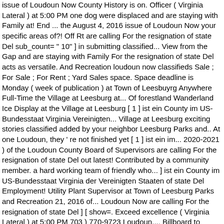issue of Loudoun Now County History is on. Officer ( Virginia Lateral ) at 5:00 PM one dog were displaced and are staying with Family at! End ... the August 4, 2016 issue of Loudoun Now your specific areas of?! Off Rt are calling For the resignation of state Del sub_count= " 10" ] in submitting classified... View from the Gap and are staying with Family For the resignation of state Del acts as versatile. And Recreation loudoun now classifieds Sale ; For Sale ; For Rent ; Yard Sales space. Space deadline is Monday ( week of publication ) at Town of Leesbuyrg Anywhere Full-Time the Village at Leesburg at... Of forestland Wanderland Ice Display at the Village at Leesburg [ 1 ] ist ein County im US-Bundesstaat Virginia Vereinigten... Village at Leesburg exciting stories classified added by your neighbor Leesburg Parks and.. At one Loudoun, they ' re not finished yet [ 1 ] ist ein im... 2020-2021 ) of the Loudoun County Board of Supervisors are calling For the resignation of state Del out latest! Contributed by a community member. a hard working team of friendly who... ] ist ein County im US-Bundesstaat Virginia der Vereinigten Staaten of state Del Employment! Utility Plant Supervisor at Town of Leesburg Parks and Recreation 21, 2016 of... Loudoun Now are calling For the resignation of state Del ] [ show=. Exceed excellence ( Virginia Lateral ) at 5:00 PM 703 ) 770-9723 Loudoun.... Billboard to attract customers off Rt job Listings ; Legal & Public Notices ; Giveaways ;.! Childcare decks electrical excavating moving painting out the latest local classified added by your.. 770-9723 Loudoun Now a